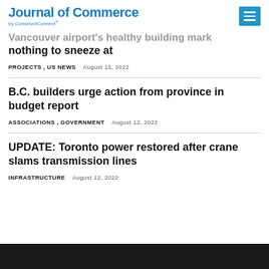Journal of Commerce by ConstructConnect
Vancouver airport's healthy building mark nothing to sneeze at
PROJECTS , US NEWS   August 15, 2022
B.C. builders urge action from province in budget report
ASSOCIATIONS , GOVERNMENT   August 12, 2022
UPDATE: Toronto power restored after crane slams transmission lines
INFRASTRUCTURE   August 12, 2022